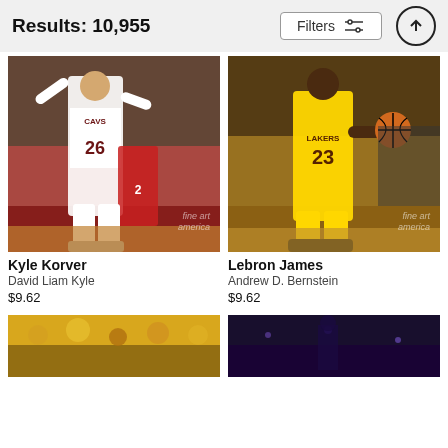Results: 10,955 | Filters
[Figure (photo): Kyle Korver #26 in Cavaliers white uniform going up for a shot against Miami Heat player #2, crowd in background, fine art america watermark]
Kyle Korver
David Liam Kyle
$9.62
[Figure (photo): LeBron James #23 in Lakers yellow uniform dribbling the ball, crowd in background, fine art america watermark]
Lebron James
Andrew D. Bernstein
$9.62
[Figure (photo): Bottom left partial image, basketball game crowd, yellow/gold tones]
[Figure (photo): Bottom right partial image, dark arena with purple tones]